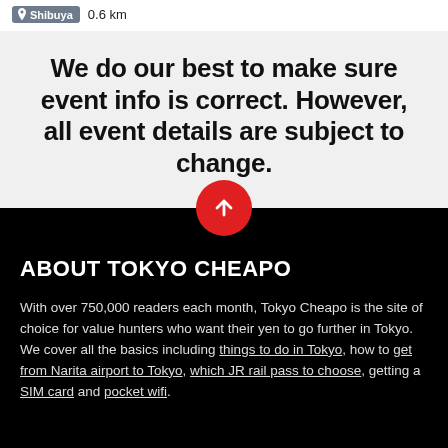Shibuya  0.6 km
We do our best to make sure event info is correct. However, all event details are subject to change.
[Figure (illustration): Red circle with white upward arrow icon]
ABOUT TOKYO CHEAPO
With over 750,000 readers each month, Tokyo Cheapo is the site of choice for value hunters who want their yen to go further in Tokyo. We cover all the basics including things to do in Tokyo, how to get from Narita airport to Tokyo, which JR rail pass to choose, getting a SIM card and pocket wifi.